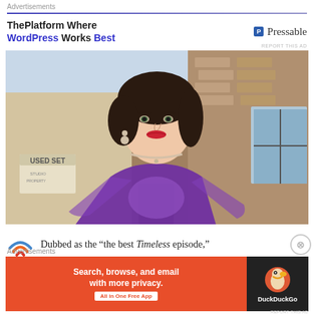Advertisements
[Figure (photo): Advertisement banner for Pressable hosting: 'ThePlatform Where WordPress Works Best' with Pressable logo on the right]
[Figure (photo): A woman in a purple dress with dark curly hair and a diamond necklace, standing in front of a film set backdrop (brick wall and window). 'USED SET' sign visible in background.]
Dubbed as the “the best Timeless episode,”
Advertisements
[Figure (photo): DuckDuckGo advertisement banner: 'Search, browse, and email with more privacy. All in One Free App' with DuckDuckGo duck logo on dark background.]